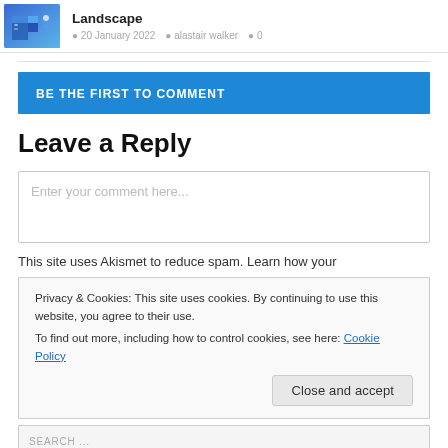[Figure (illustration): Isometric illustration of a digital/tech landscape with blue server/cloud imagery]
Landscape
20 January 2022   alastair walker   0
BE THE FIRST TO COMMENT
Leave a Reply
Enter your comment here...
This site uses Akismet to reduce spam. Learn how your
Privacy & Cookies: This site uses cookies. By continuing to use this website, you agree to their use.
To find out more, including how to control cookies, see here: Cookie Policy
Close and accept
SEARCH ...